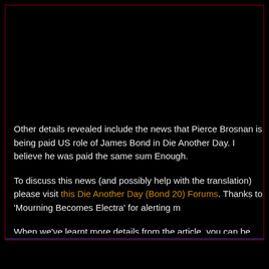Other details revealed include the news that Pierce Brosnan is being paid US role of James Bond in Die Another Day. I believe he was paid the same sum Enough.
To discuss this news (and possibly help with the translation) please visit this Die Another Day (Bond 20) Forums. Thanks to 'Mourning Becomes Electra' for alerting m
When we've learnt more details from the article, you can be sure that you'll r CommanderBond.Net!